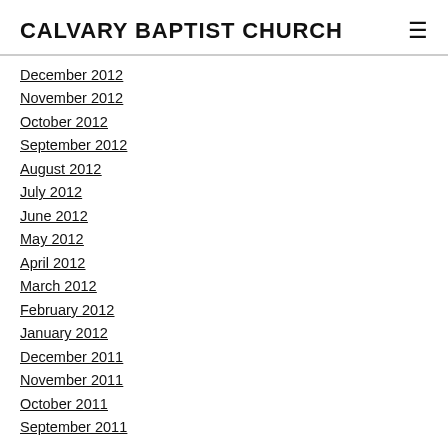CALVARY BAPTIST CHURCH
December 2012
November 2012
October 2012
September 2012
August 2012
July 2012
June 2012
May 2012
April 2012
March 2012
February 2012
January 2012
December 2011
November 2011
October 2011
September 2011